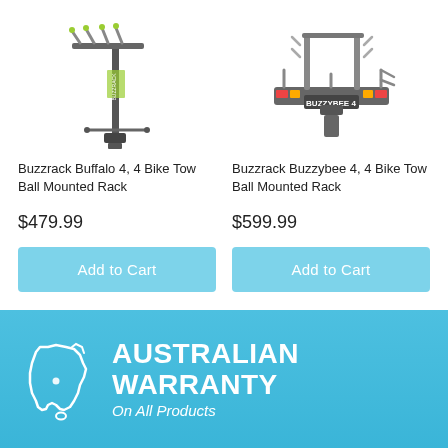[Figure (photo): Buzzrack Buffalo 4 bike tow ball mounted rack product photo]
Buzzrack Buffalo 4, 4 Bike Tow Ball Mounted Rack
$479.99
Add to Cart
[Figure (photo): Buzzrack Buzzybee 4 bike tow ball mounted rack product photo]
Buzzrack Buzzybee 4, 4 Bike Tow Ball Mounted Rack
$599.99
Add to Cart
[Figure (illustration): Australian map outline icon (white)]
AUSTRALIAN WARRANTY On All Products